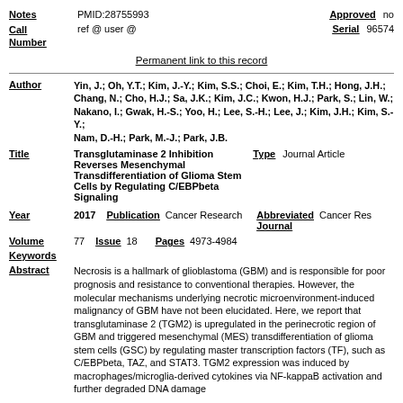Notes: PMID:28755993 | Approved: no
Call Number: ref @ user @ | Serial: 96574
Permanent link to this record
Author: Yin, J.; Oh, Y.T.; Kim, J.-Y.; Kim, S.S.; Choi, E.; Kim, T.H.; Hong, J.H.; Chang, N.; Cho, H.J.; Sa, J.K.; Kim, J.C.; Kwon, H.J.; Park, S.; Lin, W.; Nakano, I.; Gwak, H.-S.; Yoo, H.; Lee, S.-H.; Lee, J.; Kim, J.H.; Kim, S.-Y.; Nam, D.-H.; Park, M.-J.; Park, J.B.
Title: Transglutaminase 2 Inhibition Reverses Mesenchymal Transdifferentiation of Glioma Stem Cells by Regulating C/EBPbeta Signaling | Type: Journal Article
Year: 2017 | Publication: Cancer Research | Abbreviated Journal: Cancer Res
Volume: 77 | Issue: 18 | Pages: 4973-4984
Keywords
Abstract: Necrosis is a hallmark of glioblastoma (GBM) and is responsible for poor prognosis and resistance to conventional therapies. However, the molecular mechanisms underlying necrotic microenvironment-induced malignancy of GBM have not been elucidated. Here, we report that transglutaminase 2 (TGM2) is upregulated in the perinecrotic region of GBM and triggered mesenchymal (MES) transdifferentiation of glioma stem cells (GSC) by regulating master transcription factors (TF), such as C/EBPbeta, TAZ, and STAT3. TGM2 expression was induced by macrophages/microglia-derived cytokines via NF-kappaB activation and further degraded DNA damage